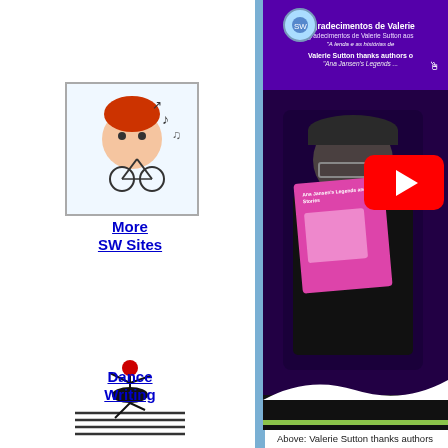[Figure (illustration): Pixel art icon of a red-haired person with a bicycle and music notes]
More SW Sites
[Figure (illustration): Dance Writing icon - ballet dancer on lines]
Dance Writing
[Figure (screenshot): Video thumbnail showing purple background with Valerie Sutton holding a book, YouTube play button overlay. Title text: Agradecimentos de Valerie Sutton aos... A lenda e as historias de... Valerie Sutton thanks authors o... Ana Jansen's Legends...]
Above: Valerie Sutton thanks authors... "Ana Jansen's Legends a... posted October 8, 2...
[Figure (illustration): Person figure at bottom of sidebar]